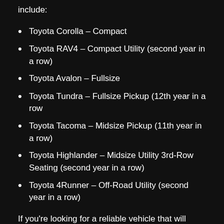include:
Toyota Corolla – Compact
Toyota RAV4 – Compact Utility (second year in a row)
Toyota Avalon – Fullsize
Toyota Tundra – Fullsize Pickup (12th year in a row
Toyota Tacoma – Midsize Pickup (11th year in a row)
Toyota Highlander – Midsize Utility 3rd-Row Seating (second year in a row)
Toyota 4Runner – Off-Road Utility (second year in a row)
If you're looking for a reliable vehicle that will keep its value even after owning it, choose a Toyota at the